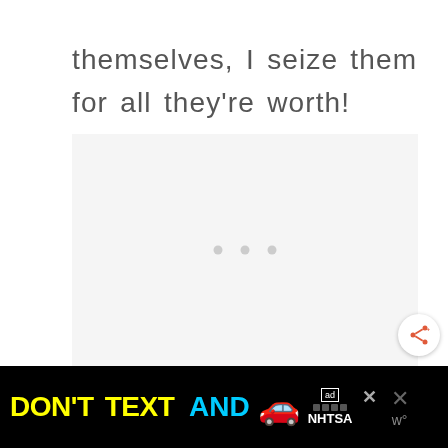themselves, I seize them for all they’re worth!
[Figure (screenshot): Empty light gray ad placeholder box with three gray dots in the center indicating loading content, and a circular share button with share icon at bottom right]
DON’T TEXT AND [car emoji] ad NHTSA [close buttons]